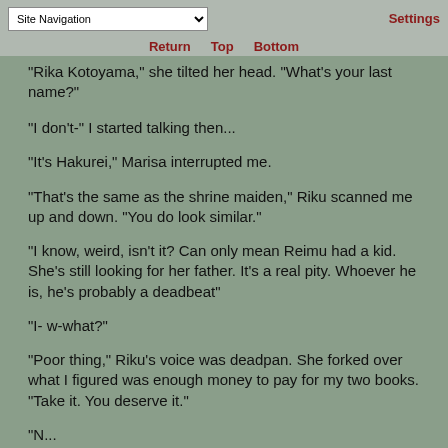Site Navigation | Settings | Return | Top | Bottom
"Rika Kotoyama," she tilted her head. "What's your last name?"
"I don't-" I started talking then...
"It's Hakurei," Marisa interrupted me.
"That's the same as the shrine maiden," Riku scanned me up and down. "You do look similar."
"I know, weird, isn't it? Can only mean Reimu had a kid. She's still looking for her father. It's a real pity. Whoever he is, he's probably a deadbeat"
"I- w-what?"
"Poor thing," Riku's voice was deadpan. She forked over what I figured was enough money to pay for my two books. "Take it. You deserve it."
"N...